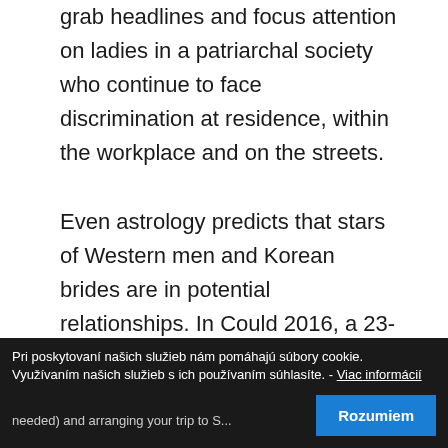grab headlines and focus attention on ladies in a patriarchal society who continue to face discrimination at residence, within the workplace and on the streets.

Even astrology predicts that stars of Western men and Korean brides are in potential relationships. In Could 2016, a 23-yr-previous South Korean girl was murdered in a public toilet close to Gangnam station in Seoul. The service does all in its energy to facilitate your communication with actual women, which
Pri poskytovaní našich služieb nám pomáhajú súbory cookie. Využívaním našich služieb s ich používaním súhlasíte. - Viac informácií
needed) and arranging your trip to S...